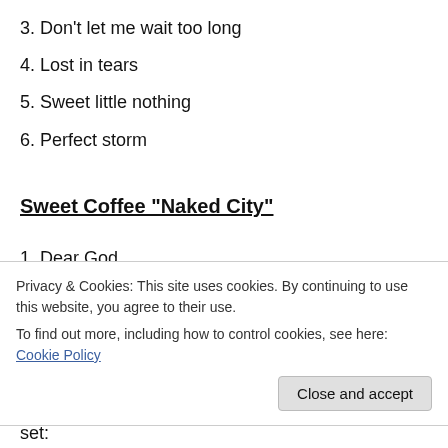3. Don't let me wait too long
4. Lost in tears
5. Sweet little nothing
6. Perfect storm
Sweet Coffee "Naked City"
1. Dear God
2. Zanna
3. Head over heels
4. Air
Privacy & Cookies: This site uses cookies. By continuing to use this website, you agree to their use. To find out more, including how to control cookies, see here: Cookie Policy
set: